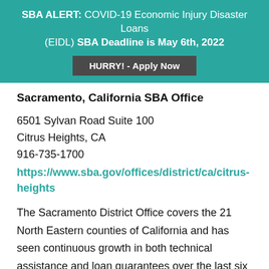SBA ALERT: COVID-19 Economic Injury Disaster Loans (EIDL) SBA Deadline is May 6th, 2022
HURRY! - Apply Now
Sacramento, California SBA Office
6501 Sylvan Road Suite 100
Citrus Heights, CA
916-735-1700
https://www.sba.gov/offices/district/ca/citrus-heights
The Sacramento District Office covers the 21 North Eastern counties of California and has seen continuous growth in both technical assistance and loan guarantees over the last six years. The District serves close to 3.9 million people and has over 800,000 small businesses. The District Office credits